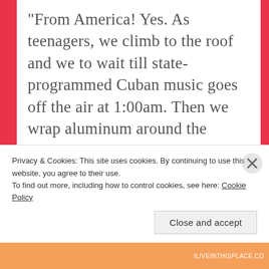“From America! Yes. As teenagers, we climb to the roof and we to wait till state-programmed Cuban music goes off the air at 1:00am. Then we wrap aluminum around the antenna and turn our radio on. We pick up American music; like Gloria Estefan, Michael Jackson, everyone. We listened all night so we’d take the rhythms’ in our heads you know.” “What’s the difference between Cuban Salsa and Latin Salsa?”
Privacy & Cookies: This site uses cookies. By continuing to use this website, you agree to their use.
To find out more, including how to control cookies, see here: Cookie Policy